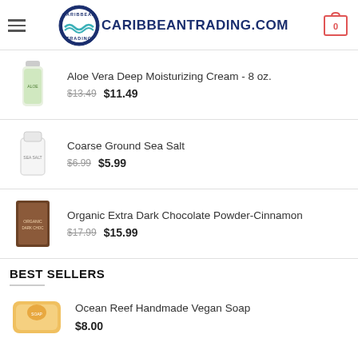[Figure (logo): CaribbeanTrading.com logo with circular emblem and text]
Aloe Vera Deep Moisturizing Cream - 8 oz.
$13.49  $11.49
Coarse Ground Sea Salt
$6.99  $5.99
Organic Extra Dark Chocolate Powder-Cinnamon
$17.99  $15.99
BEST SELLERS
Ocean Reef Handmade Vegan Soap
$8.00